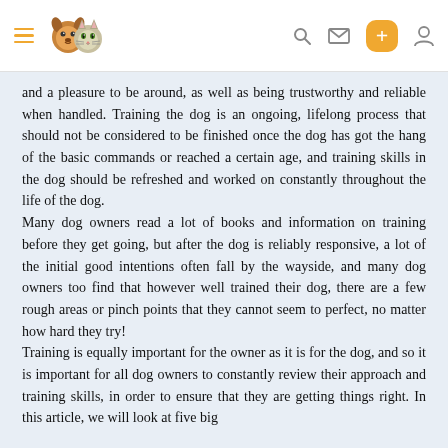Navigation header with hamburger menu, dog/cat logo, search, mail, plus button, and user icons
and a pleasure to be around, as well as being trustworthy and reliable when handled. Training the dog is an ongoing, lifelong process that should not be considered to be finished once the dog has got the hang of the basic commands or reached a certain age, and training skills in the dog should be refreshed and worked on constantly throughout the life of the dog.
Many dog owners read a lot of books and information on training before they get going, but after the dog is reliably responsive, a lot of the initial good intentions often fall by the wayside, and many dog owners too find that however well trained their dog, there are a few rough areas or pinch points that they cannot seem to perfect, no matter how hard they try!
Training is equally important for the owner as it is for the dog, and so it is important for all dog owners to constantly review their approach and training skills, in order to ensure that they are getting things right. In this article, we will look at five big